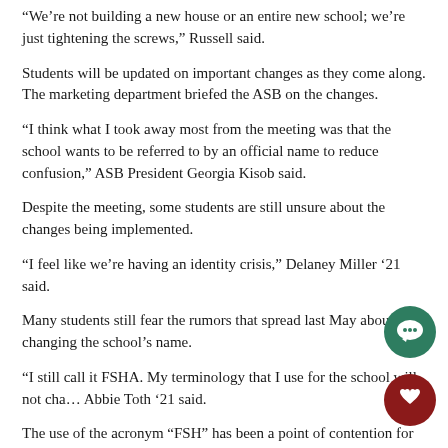'We're not building a new house or an entire new school; we're just tightening the screws,' Russell said.
Students will be updated on important changes as they come along. The marketing department briefed the ASB on the changes.
“I think what I took away most from the meeting was that the school wants to be referred to by an official name to reduce confusion,” ASB President Georgia Kisob said.
Despite the meeting, some students are still unsure about the changes being implemented.
“I feel like we’re having an identity crisis,” Delaney Miller ’21 said.
Many students still fear the rumors that spread last May about changing the school’s name.
“I still call it FSHA. My terminology that I use for the school will not cha… Abbie Toth ’21 said.
The use of the acronym “FSH” has been a point of contention for many.
[Figure (illustration): Green circle icon with a speech bubble/comment symbol]